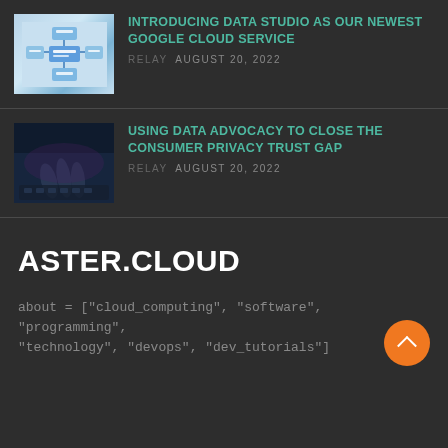[Figure (illustration): Thumbnail image showing a cloud/data flow diagram with blue boxes and connecting arrows on light blue background]
INTRODUCING DATA STUDIO AS OUR NEWEST GOOGLE CLOUD SERVICE
RELAY AUGUST 20, 2022
[Figure (photo): Thumbnail photo showing hands on a laptop keyboard in dark blue/purple tones]
USING DATA ADVOCACY TO CLOSE THE CONSUMER PRIVACY TRUST GAP
RELAY AUGUST 20, 2022
ASTER.CLOUD
about = ["cloud_computing", "software", "programming", "technology", "devops", "dev_tutorials"]